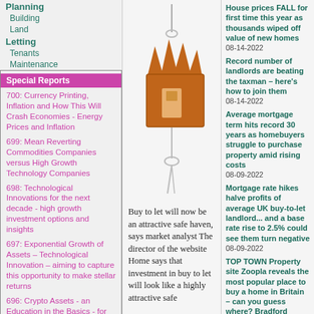Planning
Building
Land
Letting
Tenants
Maintenance
Special Reports
700: Currency Printing, Inflation and How This Will Crash Economies - Energy Prices and Inflation
699: Mean Reverting Commodities Companies versus High Growth Technology Companies
698: Technological Innovations for the next decade - high growth investment options and insights
697: Exponential Growth of Assets – Technological Innovation – aiming to capture this opportunity to make stellar returns
696: Crypto Assets - an Education in the Basics - for investors
695: Cryptocurrency investments for property investors
694: Cryptocurrencies, Bitcoin, Active Retirement...
[Figure (photo): Photo of a house-shaped key tag/keychain in orange/brown color with a metal chain, representing property/real estate]
Buy to let will now be an attractive safe haven, says market analyst The director of the website Home says that investment in buy to let will look like a highly attractive safe
House prices FALL for first time this year as thousands wiped off value of new homes
08-14-2022
Record number of landlords are beating the taxman – here's how to join them
08-14-2022
Average mortgage term hits record 30 years as homebuyers struggle to purchase property amid rising costs
08-09-2022
Mortgage rate hikes halve profits of average UK buy-to-let landlord... and a base rate rise to 2.5% could see them turn negative
08-09-2022
TOP TOWN Property site Zoopla reveals the most popular place to buy a home in Britain – can you guess where? Bradford
08-08-2022
House prices dropped in July — are we heading towards a property market crash?
08-08-2022
search news
more news articles...